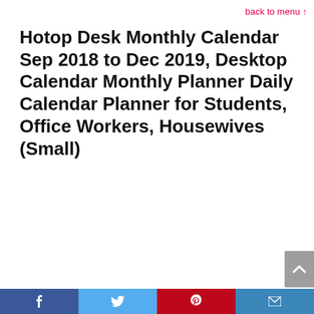back to menu ↑
Hotop Desk Monthly Calendar Sep 2018 to Dec 2019, Desktop Calendar Monthly Planner Daily Calendar Planner for Students, Office Workers, Housewives (Small)
[Figure (infographic): Green circular badge showing -13% discount]
Social share bar with Facebook, Twitter, Pinterest, Email buttons